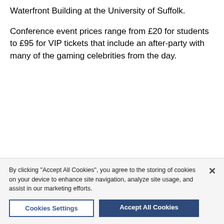Waterfront Building at the University of Suffolk. Conference event prices range from £20 for students to £95 for VIP tickets that include an after-party with many of the gaming celebrities from the day.
By clicking "Accept All Cookies", you agree to the storing of cookies on your device to enhance site navigation, analyze site usage, and assist in our marketing efforts.